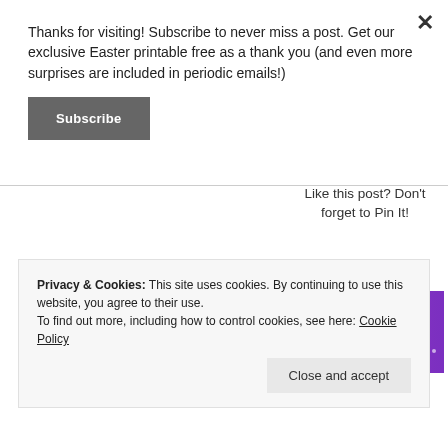Thanks for visiting! Subscribe to never miss a post. Get our exclusive Easter printable free as a thank you (and even more surprises are included in periodic emails!)
Subscribe
Like this post? Don't forget to Pin It!
Advertisements
[Figure (illustration): Colorful advertisement banner with pink-to-purple gradient background featuring doodle-style icons including party hats, music notes, flowers, emoji faces, hearts, and other decorative elements]
Privacy & Cookies: This site uses cookies. By continuing to use this website, you agree to their use.
To find out more, including how to control cookies, see here: Cookie Policy
Close and accept